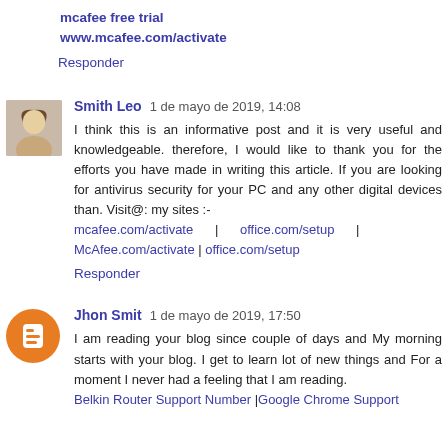mcafee free trial
www.mcafee.com/activate
Responder
Smith Leo  1 de mayo de 2019, 14:08
I think this is an informative post and it is very useful and knowledgeable. therefore, I would like to thank you for the efforts you have made in writing this article. If you are looking for antivirus security for your PC and any other digital devices than. Visit@: my sites :- mcafee.com/activate | office.com/setup | McAfee.com/activate | office.com/setup
Responder
Jhon Smit  1 de mayo de 2019, 17:50
I am reading your blog since couple of days and My morning starts with your blog. I get to learn lot of new things and For a moment I never had a feeling that I am reading. Belkin Router Support Number |Google Chrome Support